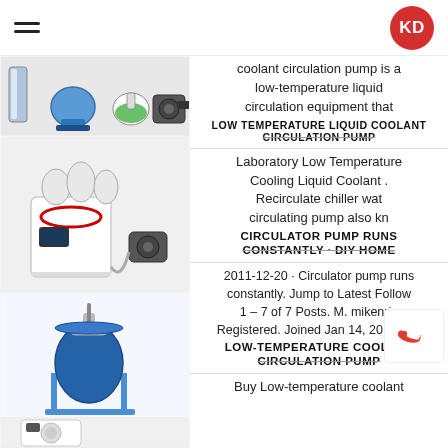KD logo and hamburger menu
[Figure (photo): Row of lab equipment: condenser, blue heating mantle, flask with green liquid, vacuum pump]
coolant circulation pump is a low-temperature liquid circulation equipment that
LOW TEMPERATURE LIQUID COOLANT CIRCULATION PUMP
[Figure (photo): Freeze dryer / lyophilizer machine with multiple flasks on top and vacuum pump]
Laboratory Low Temperature Cooling Liquid Coolant . Recirculate chiller water circulating pump also kn
CIRCULATOR PUMP RUNS CONSTANTLY · DIY HOME
[Figure (photo): Blue lab reactor vessel on metal stand with stirring mechanism]
2011-12-20 · Circulator pump runs constantly. Jump to Latest Follow 1 – 7 of 7 Posts. M. mikenri · Registered. Joined Jan 14, 2011 · 17
LOW-TEMPERATURE COOLANT CIRCULATION PUMP
[Figure (photo): White industrial oven or drying cabinet with circular door]
Buy Low-temperature coolant